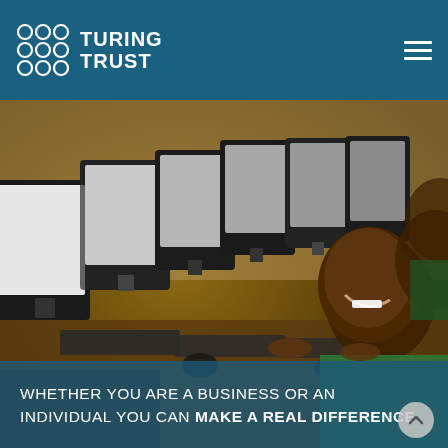Turing Trust
[Figure (photo): Students using computers in a classroom in Africa, smiling at the camera. Multiple CRT/LCD monitors lined up on desks with students sitting at them.]
WHETHER YOU ARE A BUSINESS OR AN INDIVIDUAL YOU CAN MAKE A REAL DIFFERENCE